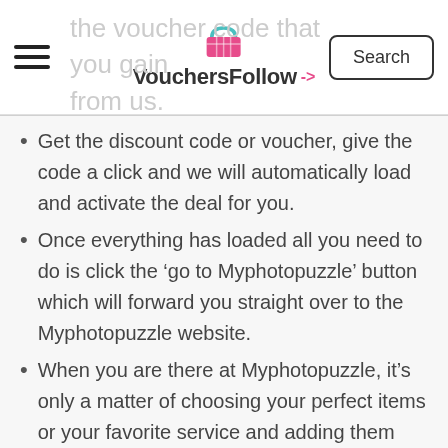VouchersFollow
the voucher code that you gain from us.
Get the discount code or voucher, give the code a click and we will automatically load and activate the deal for you.
Once everything has loaded all you need to do is click the ‘go to Myphotopuzzle’ button which will forward you straight over to the Myphotopuzzle website.
When you are there at Myphotopuzzle, it’s only a matter of choosing your perfect items or your favorite service and adding them into your basket.
Once you have decided on what you…